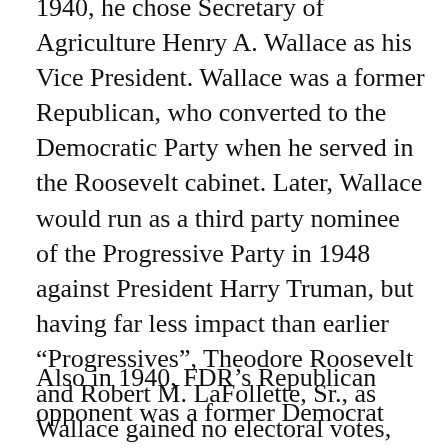1940, he chose Secretary of Agriculture Henry A. Wallace as his Vice President. Wallace was a former Republican, who converted to the Democratic Party when he served in the Roosevelt cabinet. Later, Wallace would run as a third party nominee of the Progressive Party in 1948 against President Harry Truman, but having far less impact than earlier “Progressives”, Theodore Roosevelt and Robert M. LaFollette, Sr., as Wallace gained no electoral votes, and only won 2.4 percent of the popular vote.
Also in 1940, FDR’s Republican opponent was a former Democrat